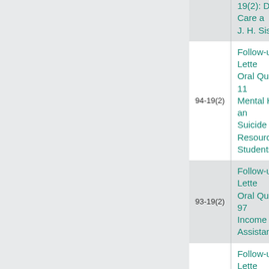| Code | Description |
| --- | --- |
|  | 19(2): Day Care a... J. H. Sissons |
| 94-19(2) | Follow-up Lette... Oral Question 11... Mental Health an... Suicide Resourc... Students |
| 93-19(2) | Follow-up Lette... Oral Question 97... Income Assistan... |
| 92-19(2) | Follow-up Lette... Oral Question 6... Improving Incom... Assistance Administration |
| 91-19(2) | Follow-up Lette... Oral Question 34... Income Security... Banking Issues |